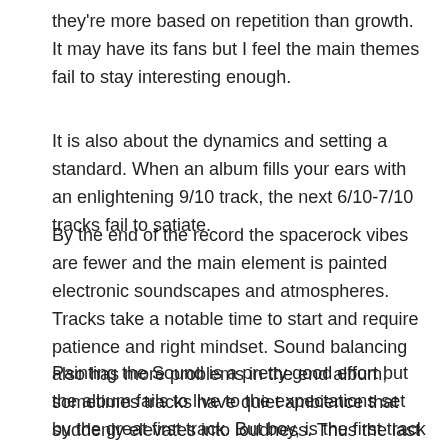they're more based on repetition than growth. It may have its fans but I feel the main themes fail to stay interesting enough.
It is also about the dynamics and setting a standard. When an album fills your ears with an enlightening 9/10 track, the next 6/10-7/10 tracks fail to satiate.
By the end of the record the spacerock vibes are fewer and the main element is painted electronic soundscapes and atmospheres. Tracks take a notable time to start and require patience and right mindset. Sound balancing also has more problems in the end album, sometimes tracks have quiet ambience that suddenly elevates into loudness. Thus the last three tracks require more volume or headphones to really open up. Especially the last track, Polar Tribes. The quiet ambients become that much more entertaining.
Painting the Sound is a pretty good effort but the album fails to live to the expectations set by the great first track. But boy, is the first track promising. If psychedelic electronic or spacerock are your things, I'll definitely recommend it as it also should become the...